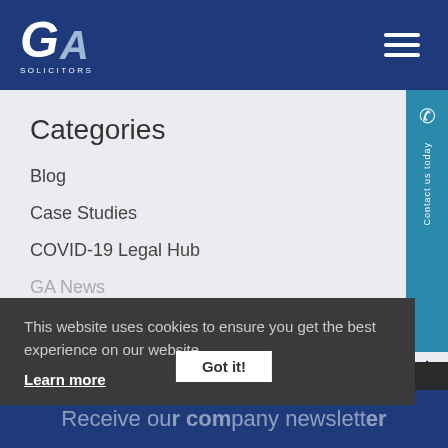[Figure (logo): GA Solicitors logo — stylized G and A letters in white and light blue, with 'SOLICITORS' text below]
Categories
Blog
Case Studies
COVID-19 Legal Hub
GA News
Uncategorised
This website uses cookies to ensure you get the best experience on our website. Learn more
Got it!
Receive our company newsletter